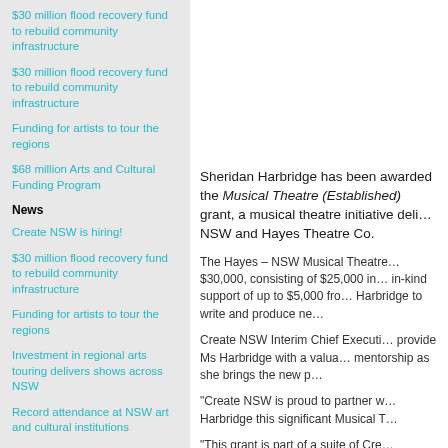$30 million flood recovery fund to rebuild community infrastructure
$30 million flood recovery fund to rebuild community infrastructure
Funding for artists to tour the regions
$68 million Arts and Cultural Funding Program
News
Create NSW is hiring!
$30 million flood recovery fund to rebuild community infrastructure
Funding for artists to tour the regions
Investment in regional arts touring delivers shows across NSW
Record attendance at NSW art and cultural institutions
Sheridan Harbridge has been awarded the Musical Theatre (Established) grant, a musical theatre initiative delivered by Create NSW and Hayes Theatre Co.
The Hayes – NSW Musical Theatre grant is $30,000, consisting of $25,000 in cash and in-kind support of up to $5,000 from Hayes to Harbridge to write and produce new work.
Create NSW Interim Chief Executive will provide Ms Harbridge with a valuable mentorship as she brings the new p…
“Create NSW is proud to partner w… Harbridge this significant Musical T…
“This grant is part of a suite of Cre…